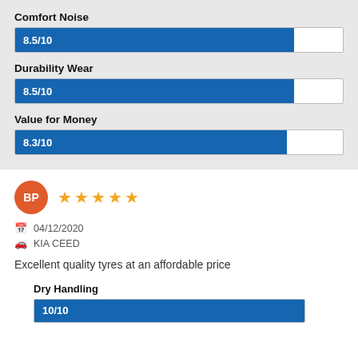Comfort Noise
[Figure (bar-chart): Comfort Noise]
Durability Wear
[Figure (bar-chart): Durability Wear]
Value for Money
[Figure (bar-chart): Value for Money]
BP — 5 stars — 04/12/2020 — KIA CEED
Excellent quality tyres at an affordable price
Dry Handling
[Figure (bar-chart): Dry Handling]